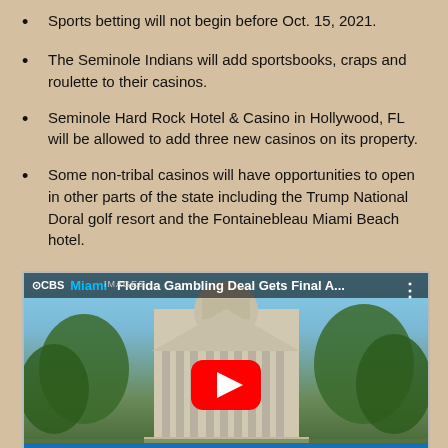Sports betting will not begin before Oct. 15, 2021.
The Seminole Indians will add sportsbooks, craps and roulette to their casinos.
Seminole Hard Rock Hotel & Casino in Hollywood, FL will be allowed to add three new casinos on its property.
Some non-tribal casinos will have opportunities to open in other parts of the state including the Trump National Doral golf resort and the Fontainebleau Miami Beach hotel.
[Figure (screenshot): CBS Miami YouTube video thumbnail showing Florida state capitol building with text overlay 'Florida Gambling Deal Gets Final A...' and a red YouTube play button. Bottom bar reads 'Florida Gambling Deal Gets Final Approval From House'.]
Florida Gambling Deal Gets Final Approval From House -